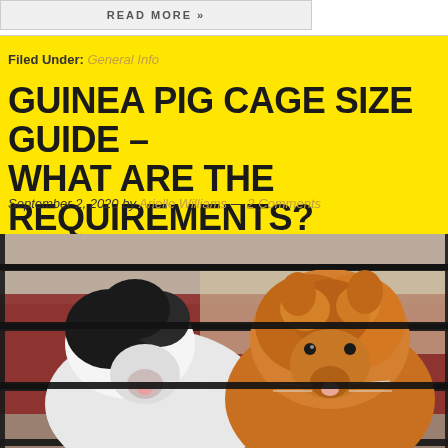READ MORE »
Filed Under: General Info
GUINEA PIG CAGE SIZE GUIDE – WHAT ARE THE REQUIREMENTS?
September 2, 2020 by Arielle Williams — 2 Comments
[Figure (photo): Two guinea pigs looking through black metal cage bars — one black and white on the left, one fluffy orange/brown on the right. Blurred red and beige background.]